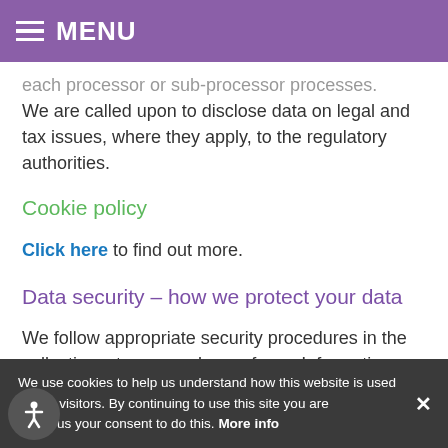MENU
each processor or sub-processor processes. We are called upon to disclose data on legal and tax issues, where they apply, to the regulatory authorities.
Cookie policy
Click here to find out more.
Data security – how we protect your data
We follow appropriate security procedures in the collection, storage and use of your Information so as to prevent unauthorised
We use cookies to help us understand how this website is used by our visitors. By continuing to use this site you are giving us your consent to do this. More info